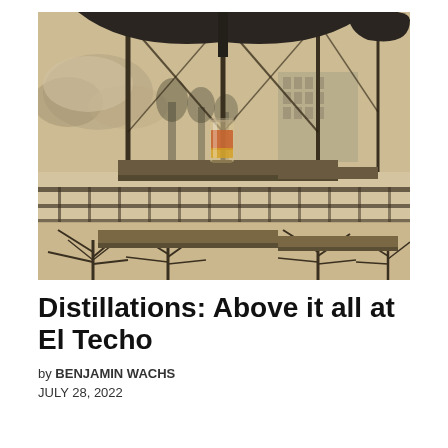[Figure (illustration): Watercolor and ink illustration of a rooftop bar scene. A tall glass with a reddish-amber drink sits on a wooden ledge. Large glass panels and a dark umbrella frame the top. In the background, a cityscape with buildings, palm trees, and clouds rendered in sepia and grey tones. Tropical plants line the bottom foreground.]
Distillations: Above it all at El Techo
by BENJAMIN WACHS
JULY 28, 2022